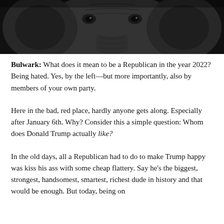[Figure (photo): Black and white close-up photograph of an elephant's face, filling the top portion of the page against a dark background.]
Bulwark: What does it mean to be a Republican in the year 2022? Being hated. Yes, by the left—but more importantly, also by members of your own party.
Here in the bad, red place, hardly anyone gets along. Especially after January 6th. Why? Consider this a simple question: Whom does Donald Trump actually like?
In the old days, all a Republican had to do to make Trump happy was kiss his ass with some cheap flattery. Say he's the biggest, strongest, handsomest, smartest, richest dude in history and that would be enough. But today, being on